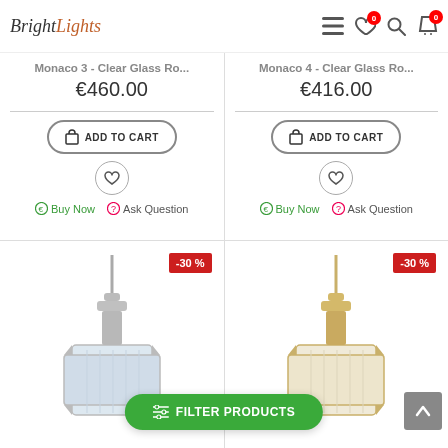BrightLights
Monaco 3 - Clear Glass Ro...
€460.00
ADD TO CART | Buy Now | Ask Question
Monaco 4 - Clear Glass Ro...
€416.00
ADD TO CART | Buy Now | Ask Question
[Figure (photo): Pendant light with clear glass shade, chrome finish, -30% discount badge]
[Figure (photo): Pendant light with white/cream shade, gold finish, -30% discount badge]